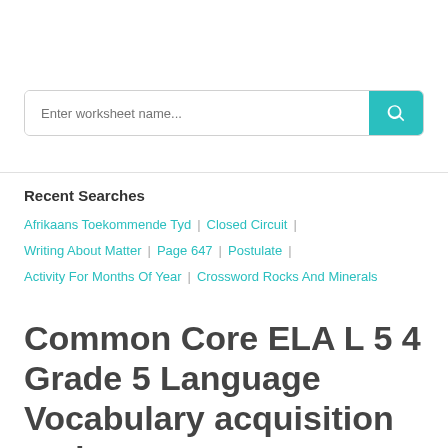[Figure (other): Search input box with placeholder 'Enter worksheet name...' and a teal search button with magnifying glass icon]
Recent Searches
Afrikaans Toekommende Tyd | Closed Circuit | Writing About Matter | Page 647 | Postulate | Activity For Months Of Year | Crossword Rocks And Minerals
Common Core ELA L 5 4 Grade 5 Language Vocabulary acquisition and